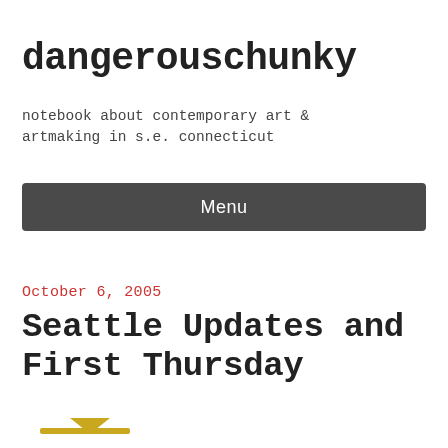dangerouschunky
notebook about contemporary art & artmaking in s.e. connecticut
Menu
October 6, 2005
Seattle Updates and First Thursday